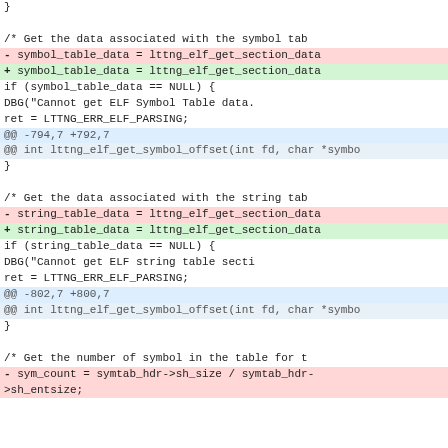}
/* Get the data associated with the symbol tab
-       symbol_table_data = lttng_elf_get_section_data
+       symbol_table_data = lttng_elf_get_section_data
if (symbol_table_data == NULL) {
DBG("Cannot get ELF Symbol Table data.
ret = LTTNG_ERR_ELF_PARSING;
@@ -794,7 +792,7
@@ int lttng_elf_get_symbol_offset(int fd, char *symbo
}
/* Get the data associated with the string tab
-       string_table_data = lttng_elf_get_section_data
+       string_table_data = lttng_elf_get_section_data
if (string_table_data == NULL) {
DBG("Cannot get ELF string table secti
ret = LTTNG_ERR_ELF_PARSING;
@@ -802,7 +800,7
@@ int lttng_elf_get_symbol_offset(int fd, char *symbo
}
/* Get the number of symbol in the table for t
-       sym_count = symtab_hdr->sh_size / symtab_hdr-
>sh_entsize;